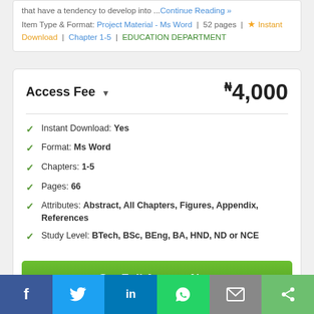that have a tendency to develop into ...Continue Reading »  Item Type & Format: Project Material - Ms Word | 52 pages | ⭐ Instant Download | Chapter 1-5 | EDUCATION DEPARTMENT
Access Fee ▾
₦4,000
Instant Download: Yes
Format: Ms Word
Chapters: 1-5
Pages: 66
Attributes: Abstract, All Chapters, Figures, Appendix, References
Study Level: BTech, BSc, BEng, BA, HND, ND or NCE
Get Full Access Now
[Figure (illustration): Gold/yellow sunburst badge partially visible at bottom of card]
f | Twitter | in | WhatsApp | mail | share